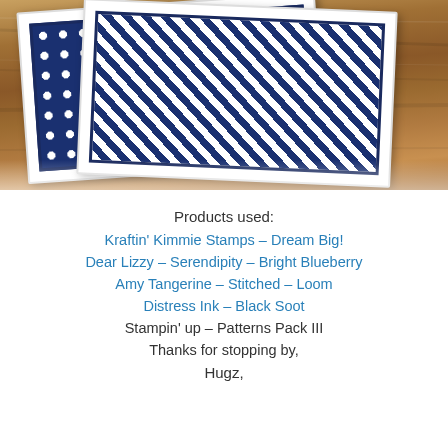[Figure (photo): Photo of greeting cards with navy blue patterned designs (polka dots and diagonal stripes) laid on a wooden surface]
Products used:
Kraftin' Kimmie Stamps – Dream Big!
Dear Lizzy – Serendipity – Bright Blueberry
Amy Tangerine – Stitched – Loom
Distress Ink – Black Soot
Stampin' up – Patterns Pack III
Thanks for stopping by,
Hugz,